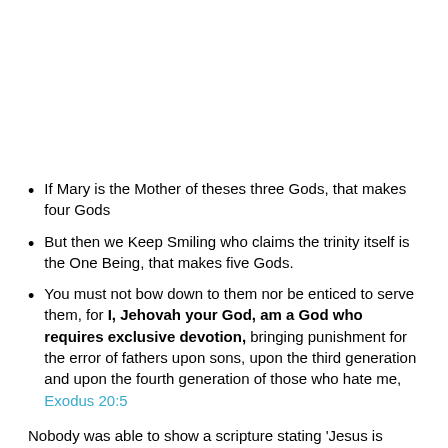If Mary is the Mother of theses three Gods, that makes four Gods
But then we Keep Smiling who claims the trinity itself is the One Being, that makes five Gods.
You must not bow down to them nor be enticed to serve them, for I, Jehovah your God, am a God who requires exclusive devotion, bringing punishment for the error of fathers upon sons, upon the third generation and upon the fourth generation of those who hate me, Exodus 20:5
Nobody was able to show a scripture stating 'Jesus is God"